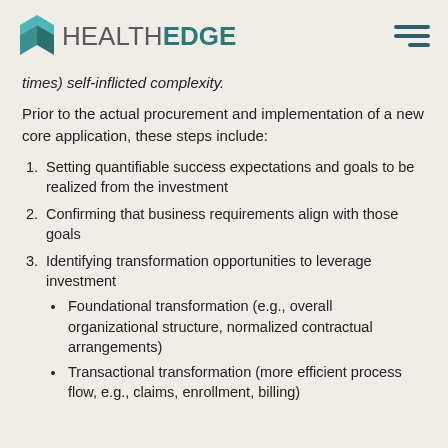HEALTHEDGE
times) self-inflicted complexity.
Prior to the actual procurement and implementation of a new core application, these steps include:
1. Setting quantifiable success expectations and goals to be realized from the investment
2. Confirming that business requirements align with those goals
3. Identifying transformation opportunities to leverage investment
Foundational transformation (e.g., overall organizational structure, normalized contractual arrangements)
Transactional transformation (more efficient process flow, e.g., claims, enrollment, billing)